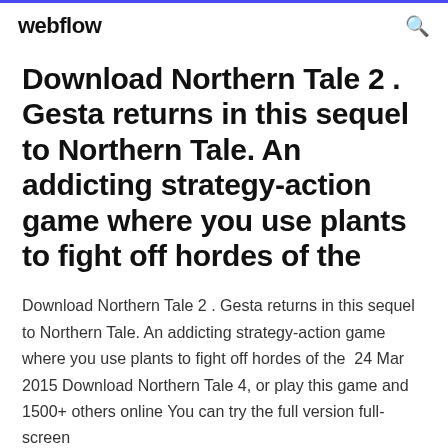webflow
Download Northern Tale 2 . Gesta returns in this sequel to Northern Tale. An addicting strategy-action game where you use plants to fight off hordes of the
Download Northern Tale 2 . Gesta returns in this sequel to Northern Tale. An addicting strategy-action game where you use plants to fight off hordes of the  24 Mar 2015 Download Northern Tale 4, or play this game and 1500+ others online You can try the full version full-screen